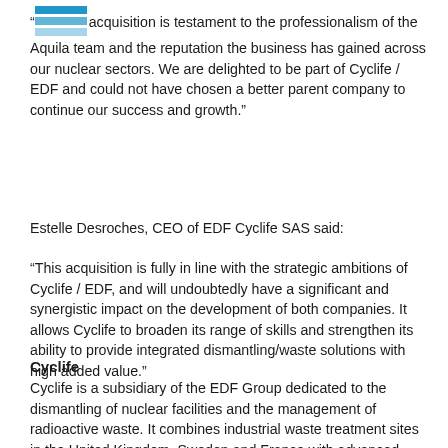“[logo]acquisition is testament to the professionalism of the Aquila team and the reputation the business has gained across our nuclear sectors. We are delighted to be part of Cyclife / EDF and could not have chosen a better parent company to continue our success and growth.”
Estelle Desroches, CEO of EDF Cyclife SAS said:
“This acquisition is fully in line with the strategic ambitions of Cyclife / EDF, and will undoubtedly have a significant and synergistic impact on the development of both companies. It allows Cyclife to broaden its range of skills and strengthen its ability to provide integrated dismantling/waste solutions with high added value.”
Cyclife
Cyclife is a subsidiary of the EDF Group dedicated to the dismantling of nuclear facilities and the management of radioactive waste. It combines industrial waste treatment sites in the United Kingdom, Sweden and France with advanced engineering capabilities through its subsidiaries